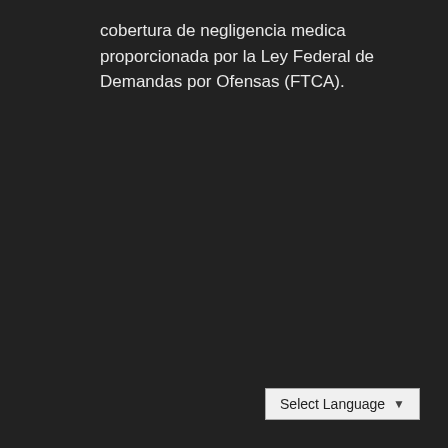cobertura de negligencia medica proporcionada por la Ley Federal de Demandas por Ofensas (FTCA).
Select Language ▾